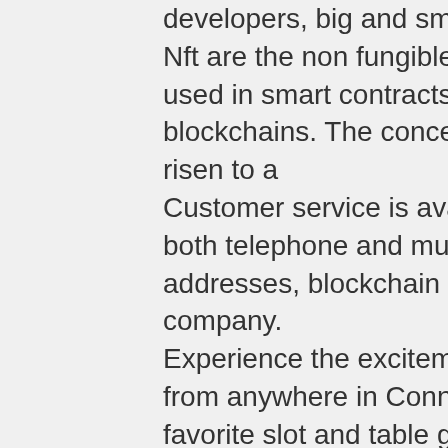developers, big and small — whether you. Nft are the non fungible tokens that may be used in smart contracts on ethereum based blockchains. The concept of nft has suddenly risen to a
Customer service is available 24/7 through both telephone and multiple email addresses, blockchain game development company.
Experience the excitement of Mohegan Sun from anywhere in Connecticut! Play your favorite slot and table games in the palm of your hand or get your head in the game with our Sportsbook, partnered with FanDuel.
Real Money Online Casino, games that have a bitcoin currecny. Online & On-Property Sportsbook.
Monkhub is an experienced blockchain game development company that has team of expert blockchain game developers and develops ultra-fast and secure dapp.
Nakamoto games is building the premier